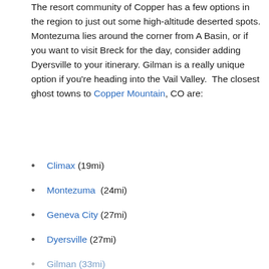The resort community of Copper has a few options in the region to just out some high-altitude deserted spots. Montezuma lies around the corner from A Basin, or if you want to visit Breck for the day, consider adding Dyersville to your itinerary. Gilman is a really unique option if you're heading into the Vail Valley.  The closest ghost towns to Copper Mountain, CO are:
Climax (19mi)
Montezuma  (24mi)
Geneva City (27mi)
Dyersville (27mi)
Gilman (33mi)